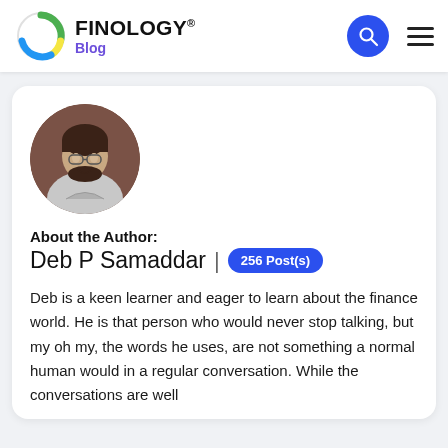FINOLOGY® Blog
[Figure (photo): Circular profile photo of a young man with glasses and a beard wearing a grey hoodie, outdoors background]
About the Author:
Deb P Samaddar | 256 Post(s)
Deb is a keen learner and eager to learn about the finance world. He is that person who would never stop talking, but my oh my, the words he uses, are not something a normal human would in a regular conversation. While the conversations are well